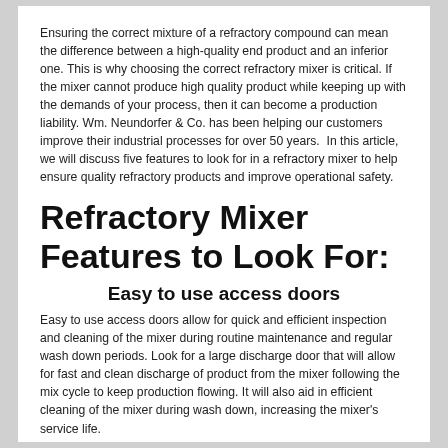Ensuring the correct mixture of a refractory compound can mean the difference between a high-quality end product and an inferior one. This is why choosing the correct refractory mixer is critical. If the mixer cannot produce high quality product while keeping up with the demands of your process, then it can become a production liability. Wm. Neundorfer & Co. has been helping our customers improve their industrial processes for over 50 years.  In this article, we will discuss five features to look for in a refractory mixer to help ensure quality refractory products and improve operational safety.
Refractory Mixer Features to Look For:
Easy to use access doors
Easy to use access doors allow for quick and efficient inspection and cleaning of the mixer during routine maintenance and regular wash down periods. Look for a large discharge door that will allow for fast and clean discharge of product from the mixer following the mix cycle to keep production flowing. It will also aid in efficient cleaning of the mixer during wash down, increasing the mixer's service life.